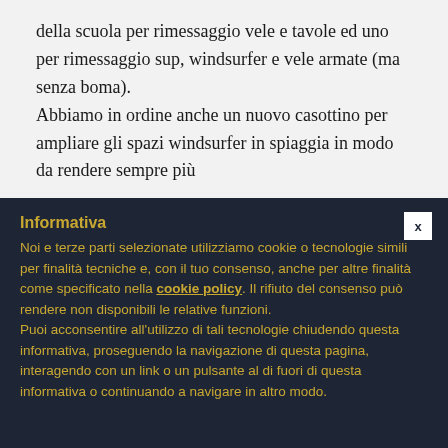della scuola per rimessaggio vele e tavole ed uno per rimessaggio sup, windsurfer e vele armate (ma senza boma).

Abbiamo in ordine anche un nuovo casottino per ampliare gli spazi windsurfer in spiaggia in modo da rendere sempre più
Informativa
Noi e terze parti selezionate utilizziamo cookie o tecnologie simili per finalità tecniche e, con il tuo consenso, anche per altre finalità come specificato nella cookie policy. Il rifiuto del consenso può rendere non disponibili le relative funzioni.
Puoi acconsentire all'utilizzo di tali tecnologie chiudendo questa informativa, proseguendo la navigazione di questa pagina, interagendo con un link o un pulsante al di fuori di questa informativa o continuando a navigare in altro modo.